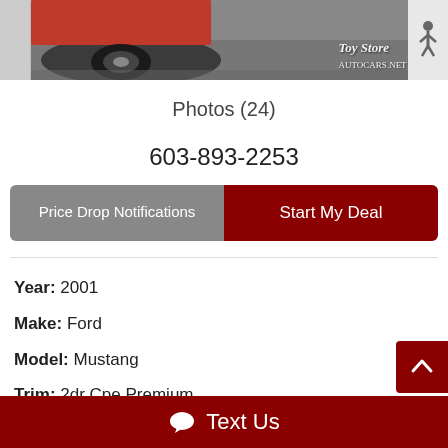[Figure (photo): Car photo strip showing partial view of a red vehicle wheel/tire area on pavement with 'Toy Store' watermark logo in bottom right]
Photos (24)
603-893-2253
Price Drop Notifications
Start My Deal
Year: 2001
Make: Ford
Model: Mustang
Trim: 2dr Cpe Premium
Fuel:
Text Us